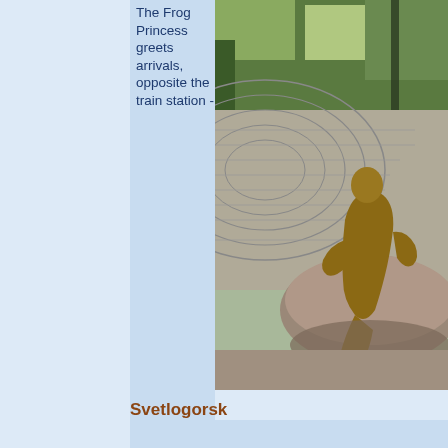The Frog Princess greets arrivals, opposite the train station -
[Figure (photo): Close-up photo of a bronze Frog Princess statue seated on a rock, with a paved circular pattern and trees visible in the background, in Svetlogorsk.]
Svetlogorsk